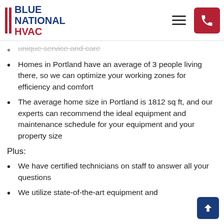Blue National HVAC
unique service and care
Homes in Portland have an average of 3 people living there, so we can optimize your working zones for efficiency and comfort
The average home size in Portland is 1812 sq ft, and our experts can recommend the ideal equipment and maintenance schedule for your equipment and your property size
Plus:
We have certified technicians on staff to answer all your questions
We utilize state-of-the-art equipment and